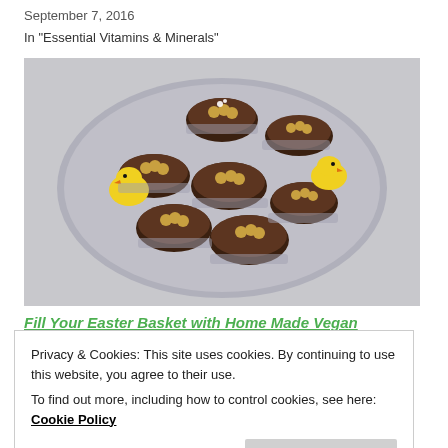September 7, 2016
In "Essential Vitamins & Minerals"
[Figure (photo): Chocolate bird nest cupcakes with golden ball candy eggs and small white flowers arranged on a round plate, with two yellow Easter chick decorations on the sides.]
Fill Your Easter Basket with Home Made Vegan
Privacy & Cookies: This site uses cookies. By continuing to use this website, you agree to their use.
To find out more, including how to control cookies, see here: Cookie Policy
Close and accept